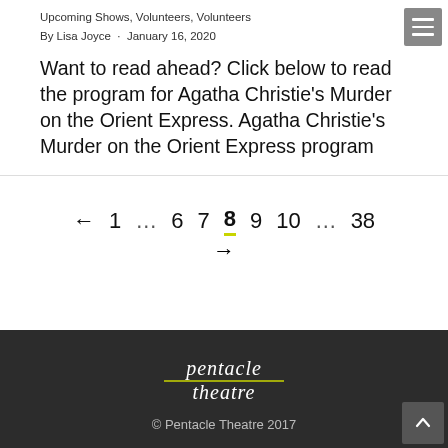Upcoming Shows, Volunteers, Volunteers
By Lisa Joyce · January 16, 2020
Want to read ahead? Click below to read the program for Agatha Christie's Murder on the Orient Express. Agatha Christie's Murder on the Orient Express program
← 1 … 6 7 8 9 10 … 38 →
© Pentacle Theatre 2017